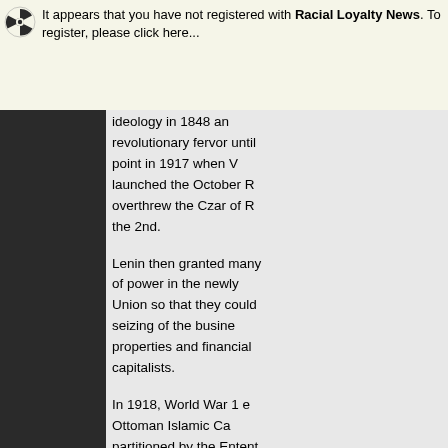It appears that you have not registered with Racial Loyalty News. To register, please click here...
ideology in 1848 and revolutionary fervor until a point in 1917 when V launched the October R overthrew the Czar of R the 2nd.

Lenin then granted many of power in the newly Union so that they could seizing of the busine properties and financial capitalists.

In 1918, World War 1 e Ottoman Islamic Ca partitioned by the Entent the USA, UK and France terms of surrender becau with Germany and Austr other 2 empires that